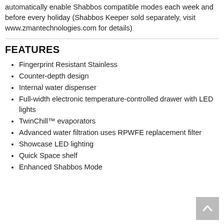automatically enable Shabbos compatible modes each week and before every holiday (Shabbos Keeper sold separately, visit www.zmantechnologies.com for details)
FEATURES
Fingerprint Resistant Stainless
Counter-depth design
Internal water dispenser
Full-width electronic temperature-controlled drawer with LED lights
TwinChill™ evaporators
Advanced water filtration uses RPWFE replacement filter
Showcase LED lighting
Quick Space shelf
Enhanced Shabbos Mode